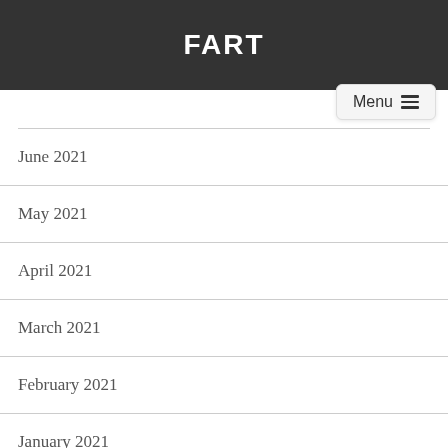FART
June 2021
May 2021
April 2021
March 2021
February 2021
January 2021
December 2020
November 2020
October 2020